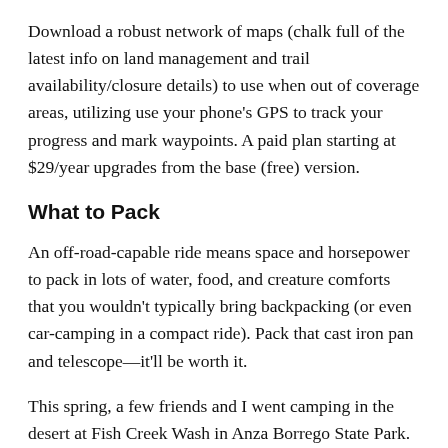Download a robust network of maps (chalk full of the latest info on land management and trail availability/closure details) to use when out of coverage areas, utilizing use your phone's GPS to track your progress and mark waypoints. A paid plan starting at $29/year upgrades from the base (free) version.
What to Pack
An off-road-capable ride means space and horsepower to pack in lots of water, food, and creature comforts that you wouldn't typically bring backpacking (or even car-camping in a compact ride). Pack that cast iron pan and telescope—it'll be worth it.
This spring, a few friends and I went camping in the desert at Fish Creek Wash in Anza Borrego State Park. This Southern California camp destination can get hot fast, so bringing in